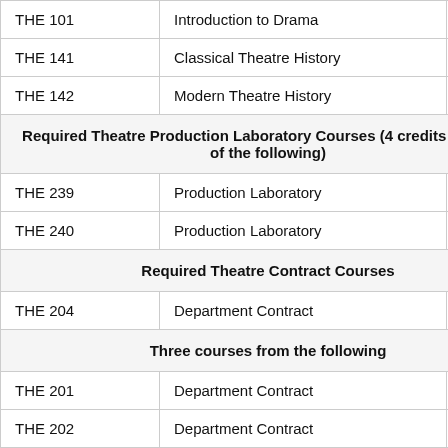| Course | Name | Credits |
| --- | --- | --- |
| THE 101 | Introduction to Drama | 3 |
| THE 141 | Classical Theatre History | 3 |
| THE 142 | Modern Theatre History | 3 |
| Required Theatre Production Laboratory Courses (4 credits from any of the following) |  |  |
| THE 239 | Production Laboratory | 1 |
| THE 240 | Production Laboratory | 1 |
| Required Theatre Contract Courses |  |  |
| THE 204 | Department Contract | 0 |
| Three courses from the following |  |  |
| THE 201 | Department Contract | 0 |
| THE 202 | Department Contract | 0 |